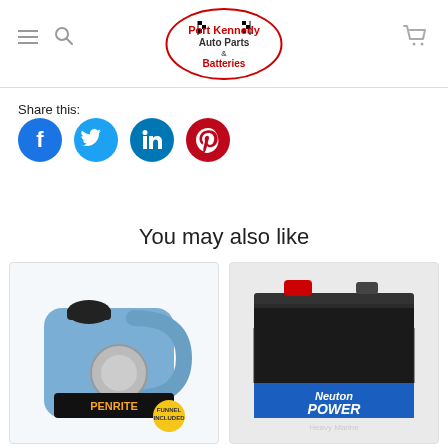[Figure (logo): Port Kennedy Auto Parts & Batteries logo — red oval with text and checkered flags]
Share this:
[Figure (infographic): Social share buttons: Facebook (blue circle), Twitter (light blue circle), LinkedIn (teal circle), Pinterest (red circle)]
You may also like
[Figure (photo): Penrite oil container — blue plastic jug with funnel included badge]
[Figure (photo): Neuton Power Air Power Heavy Marine battery — black battery with red terminal and blue label]